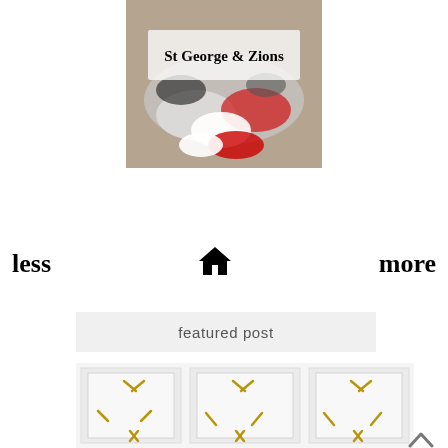[Figure (photo): Pile of clothing and socks on a floor with text overlay 'St George & Zions']
less
[Figure (illustration): Home icon (house symbol)]
more
featured post
[Figure (photo): White dresser or cabinet with gold hardware handles]
^